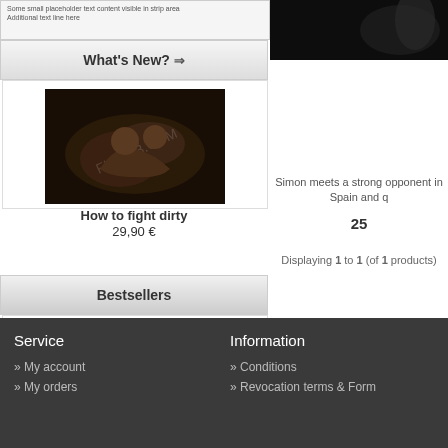[Figure (screenshot): Top strip with small text content, partially visible]
[Figure (photo): Dark photo of wrestling/fighting scene in top right]
What's New? ⇒
[Figure (photo): Photo of two wrestlers/fighters grappling on dark background, labeled How to fight dirty]
How to fight dirty
29,90 €
Simon meets a strong opponent in Spain and q
25
Displaying 1 to 1 (of 1 products)
Bestsellers
Bad Habits
Service
» My account
» My orders
Information
» Conditions
» Revocation terms & Form